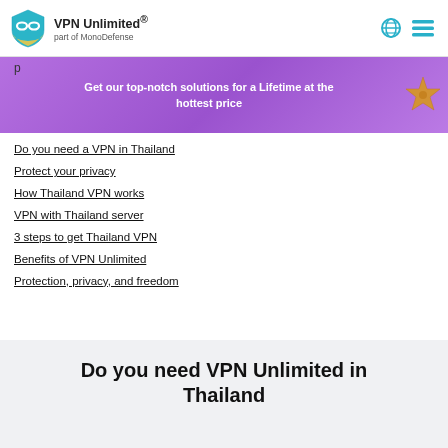VPN Unlimited® part of MonoDefense
[Figure (infographic): Purple promotional banner with text 'Get our top-notch solutions for a Lifetime at the hottest price' and a gold starfish illustration on the right]
Do you need a VPN in Thailand
Protect your privacy
How Thailand VPN works
VPN with Thailand server
3 steps to get Thailand VPN
Benefits of VPN Unlimited
Protection, privacy, and freedom
Do you need VPN Unlimited in Thailand